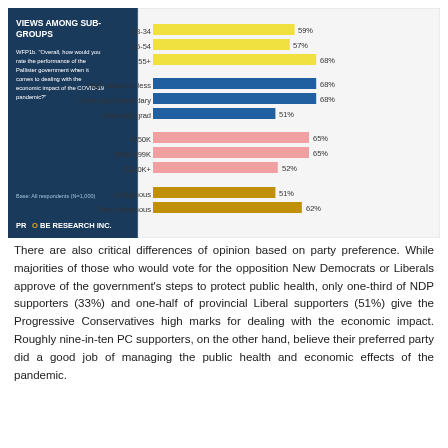[Figure (bar-chart): VIEWS AMONG SUB-GROUPS]
There are also critical differences of opinion based on party preference. While majorities of those who would vote for the opposition New Democrats or Liberals approve of the government's steps to protect public health, only one-third of NDP supporters (33%) and one-half of provincial Liberal supporters (51%) give the Progressive Conservatives high marks for dealing with the economic impact. Roughly nine-in-ten PC supporters, on the other hand, believe their preferred party did a good job of managing the public health and economic effects of the pandemic.